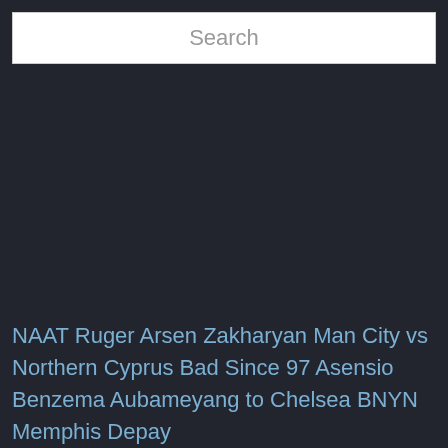[Figure (screenshot): Search bar input field with placeholder text 'Search' on a dark background]
NAAT Ruger Arsen Zakharyan Man City vs Northern Cyprus Bad Since 97 Asensio Benzema Aubameyang to Chelsea BNYN Memphis Depay